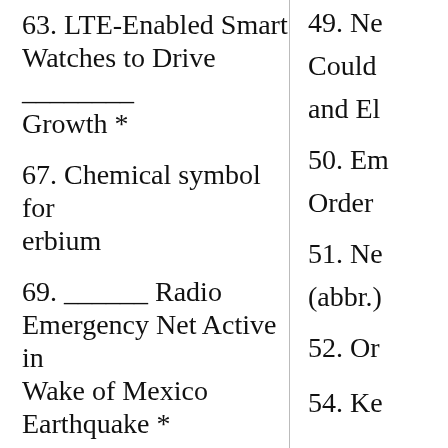63. LTE-Enabled Smart Watches to Drive ________ Growth *
67. Chemical symbol for erbium
69. ______ Radio Emergency Net Active in Wake of Mexico Earthquake *
73. Front edge of a wing
49. Ne... Could... and El...
50. Em... Order...
51. Ne... (abbr.)
52. Or...
54. Ke...